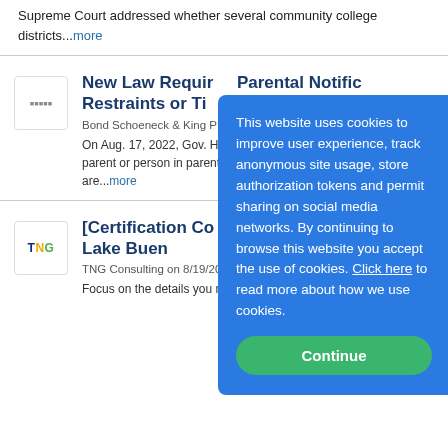Supreme Court addressed whether several community college districts......more
New Law Requires Parental Notification for Restraints or Ti...
Bond Schoeneck & King PL...
On Aug. 17, 2022, Gov. Hoo... Bill S7548A which requires... parent or person in parental... disability where certain beh... are......more
[Certification Co... Coordinator Tw... 20th, Lake Buen...
TNG Consulting on 8/19/2022
Focus on the details you need for success. K-12 Title IX
This website uses cookies to improve user experience, track anonymous site usage, store authorization tokens and permit sharing on social media networks. By continuing to browse this website you accept the use of cookies. Click here to read more about how we use cookies.